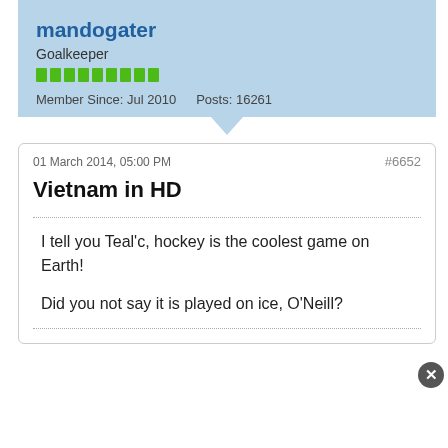mandogater
Goalkeeper
Member Since: Jul 2010   Posts: 16261
01 March 2014, 05:00 PM
#6652
Vietnam in HD
I tell you Teal'c, hockey is the coolest game on Earth!

Did you not say it is played on ice, O'Neill?
[Figure (photo): Partial avatar image of next forum user, blue/dark blue colors suggesting a sports team logo]